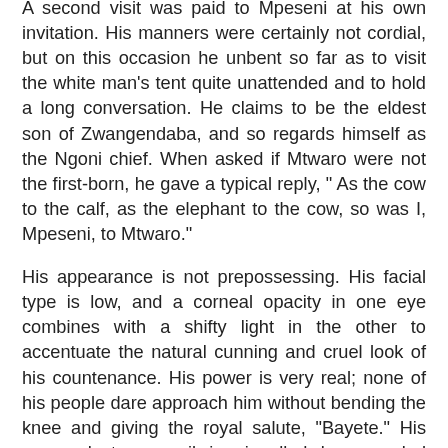A second visit was paid to Mpeseni at his own invitation. His manners were certainly not cordial, but on this occasion he unbent so far as to visit the white man's tent quite unattended and to hold a long conversation. He claims to be the eldest son of Zwangendaba, and so regards himself as the Ngoni chief. When asked if Mtwaro were not the first-born, he gave a typical reply, " As the cow to the calf, as the elephant to the cow, so was I, Mpeseni, to Mtwaro."
His appearance is not prepossessing. His facial type is low, and a corneal opacity in one eye combines with a shifty light in the other to accentuate the natural cunning and cruel look of his countenance. His power is very real; none of his people dare approach him without bending the knee and giving the royal salute, "Bayete." His approach to council is signalled by a verbal trumpeter, who thunders forth his attributes and titles with all the quaint inferences and parallels of their language. He was more than astonished at the mention of the incident of the Zambezi eclipse.
"You," said he; "how did you know that?" and, indicating a height with his hand, "you must have been quite small then-sel."